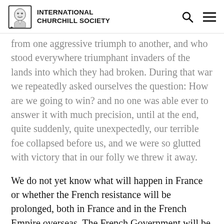INTERNATIONAL CHURCHILL SOCIETY
from one aggressive triumph to another, and who stood everywhere triumphant invaders of the lands into which they had broken. During that war we repeatedly asked ourselves the question: How are we going to win? and no one was able ever to answer it with much precision, until at the end, quite suddenly, quite unexpectedly, our terrible foe collapsed before us, and we were so glutted with victory that in our folly we threw it away.
We do not yet know what will happen in France or whether the French resistance will be prolonged, both in France and in the French Empire overseas. The French Government will be throwing away great opportunities and casting adrift their future